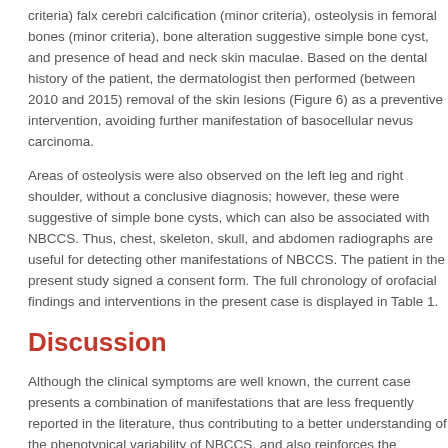criteria) falx cerebri calcification (minor criteria), osteolysis in femoral bones (minor criteria), bone alteration suggestive simple bone cyst, and presence of head and neck skin maculae. Based on the dental history of the patient, the dermatologist then performed (between 2010 and 2015) removal of the skin lesions (Figure 6) as a preventive intervention, avoiding further manifestation of basocellular nevus carcinoma.
Areas of osteolysis were also observed on the left leg and right shoulder, without a conclusive diagnosis; however, these were suggestive of simple bone cysts, which can also be associated with NBCCS. Thus, chest, skeleton, skull, and abdomen radiographs are useful for detecting other manifestations of NBCCS. The patient in the present study signed a consent form. The full chronology of orofacial findings and interventions in the present case is displayed in Table 1.
Discussion
Although the clinical symptoms are well known, the current case presents a combination of manifestations that are less frequently reported in the literature, thus contributing to a better understanding of the phenotypical variability of NBCCS, and also reinforces the